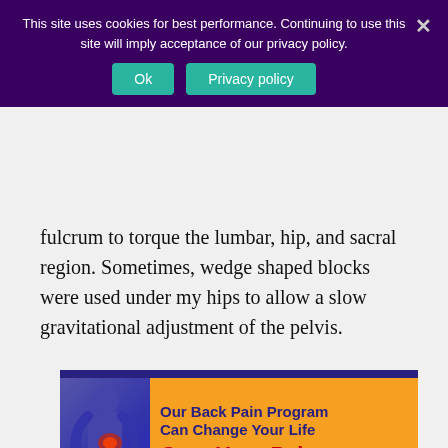This site uses cookies for best performance. Continuing to use this site will imply acceptance of our privacy policy.
fulcrum to torque the lumbar, hip, and sacral region. Sometimes, wedge shaped blocks were used under my hips to allow a slow gravitational adjustment of the pelvis.
[Figure (illustration): Advertisement banner for a Back Pain Program with text 'Our Back Pain Program Can Change Your Life', 'Cure Your Pain', and a 'GET HELP NOW!' button with a green dot and red arrow. Features a blue-tinted human figure with red pain highlight on the back, against an orange background.]